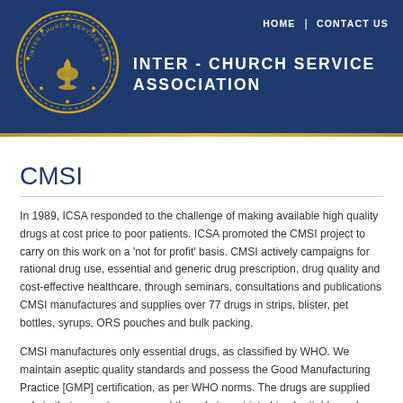HOME | CONTACT US
INTER - CHURCH SERVICE ASSOCIATION
CMSI
In 1989, ICSA responded to the challenge of making available high quality drugs at cost price to poor patients. ICSA promoted the CMSI project to carry on this work on a 'not for profit' basis. CMSI actively campaigns for rational drug use, essential and generic drug prescription, drug quality and cost-effective healthcare, through seminars, consultations and publications CMSI manufactures and supplies over 77 drugs in strips, blister, pet bottles, syrups, ORS pouches and bulk packing.
CMSI manufactures only essential drugs, as classified by WHO. We maintain aseptic quality standards and possess the Good Manufacturing Practice [GMP] certification, as per WHO norms. The drugs are supplied only in their generic names and the sale is restricted to charitable work only. Currently, CMSI drugs are utilized